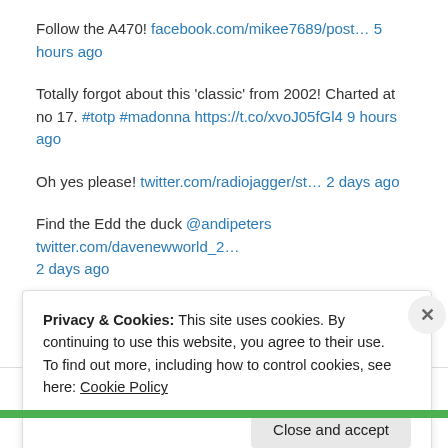Follow the A470! facebook.com/mikee7689/post… 5 hours ago
Totally forgot about this 'classic' from 2002! Charted at no 17. #totp #madonna https://t.co/xvoJ05fGl4 9 hours ago
Oh yes please! twitter.com/radiojagger/st… 2 days ago
Find the Edd the duck @andipeters twitter.com/davenewworld_2… 2 days ago
[Figure (other): Twitter Follow @djleekee button]
DJ Leekee on Facebook
Privacy & Cookies: This site uses cookies. By continuing to use this website, you agree to their use. To find out more, including how to control cookies, see here: Cookie Policy
Close and accept